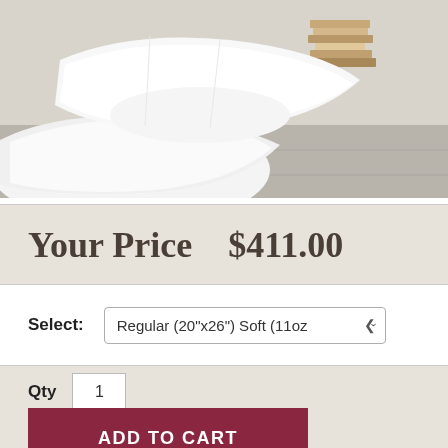[Figure (photo): Product photo showing white pillows stacked on a light gray tile floor with books in the background]
Your Price   $411.00
Select: Regular (20"x26") Soft (11oz
Qty 1
ADD TO CART